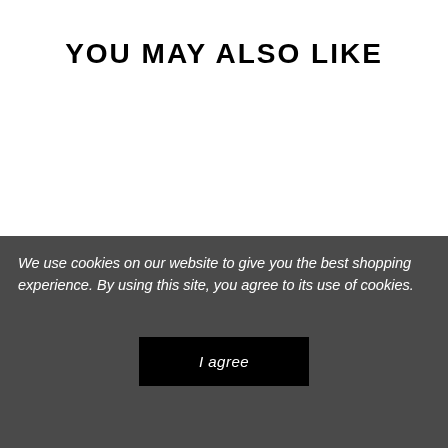YOU MAY ALSO LIKE
KERASTASE
KERASTASE MASQUE BEURRE HAUTE NUTRITION
KERASTASE
KERASTASE FONDANT HYDRATATION ESSENTIELLE
We use cookies on our website to give you the best shopping experience. By using this site, you agree to its use of cookies.
I agree